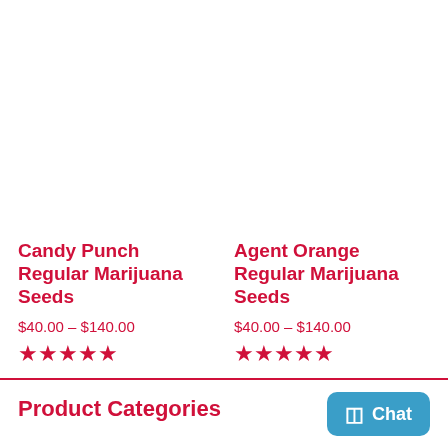Candy Punch Regular Marijuana Seeds
$40.00 – $140.00
[Figure (other): Five red stars rating]
Buy Seeds Now
Agent Orange Regular Marijuana Seeds
$40.00 – $140.00
[Figure (other): Five red stars rating]
Buy Seeds Now
Product Categories
Chat